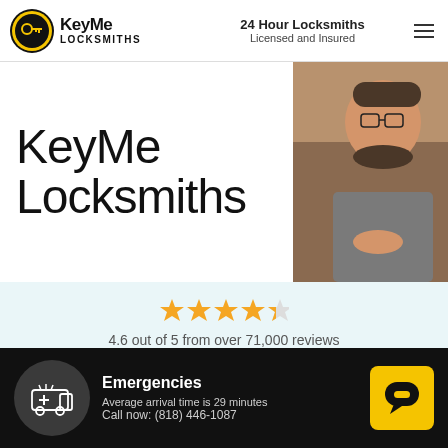KeyMe Locksmiths | 24 Hour Locksmiths Licensed and Insured
KeyMe Locksmiths
[Figure (photo): Man with beard and glasses working, partial view on right side of hero]
4.6 out of 5 from over 71,000 reviews
Call 24hrs: (818) 446-1087
Copying a Key? See the nearest kiosk below
[Figure (illustration): Emergency ambulance/truck icon in dark circle]
Emergencies
Average arrival time is 29 minutes
Call now: (818) 446-1087
[Figure (illustration): Yellow chat bubble button icon]